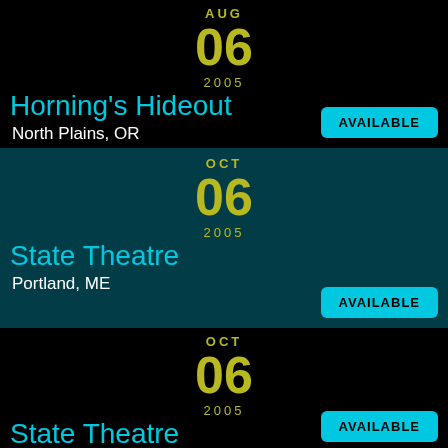AUG 06 2005
Horning's Hideout
North Plains, OR
AVAILABLE
OCT 06 2005
State Theatre
Portland, ME
AVAILABLE
OCT 06 2005
State Theatre
Portland, ME
AVAILABLE